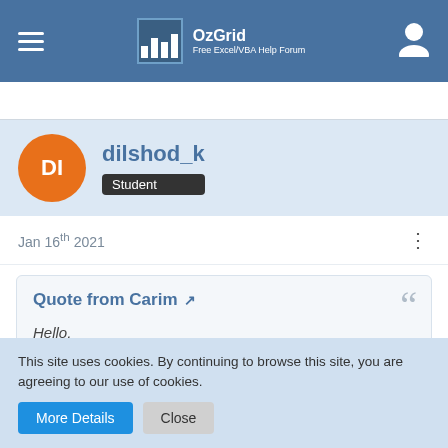OzGrid Free Excel/VBA Help Forum
dilshod_k Student
Jan 16th 2021
Quote from Carim
Hello,
This topic has already been addressed many times in the Forum ...
This site uses cookies. By continuing to browse this site, you are agreeing to our use of cookies.